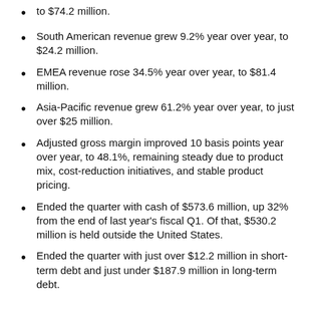to $74.2 million.
South American revenue grew 9.2% year over year, to $24.2 million.
EMEA revenue rose 34.5% year over year, to $81.4 million.
Asia-Pacific revenue grew 61.2% year over year, to just over $25 million.
Adjusted gross margin improved 10 basis points year over year, to 48.1%, remaining steady due to product mix, cost-reduction initiatives, and stable product pricing.
Ended the quarter with cash of $573.6 million, up 32% from the end of last year's fiscal Q1. Of that, $530.2 million is held outside the United States.
Ended the quarter with just over $12.2 million in short-term debt and just under $187.9 million in long-term debt.